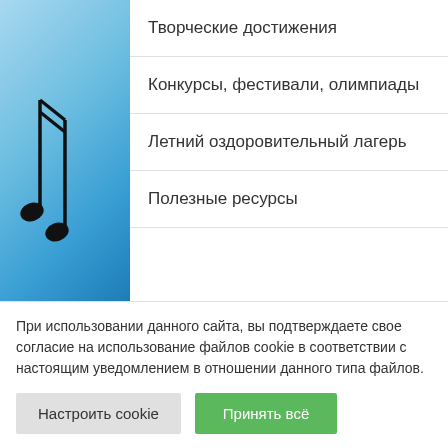[Figure (illustration): Blue gradient background with music notes illustration on the left side]
Творческие достижения
Конкурсы, фестивали, олимпиады
Летний оздоровительный лагерь
Полезные ресурсы
Свежие записи
Ведомости вступительных
При использовании данного сайта, вы подтверждаете свое согласие на использование файлов cookie в соответствии с настоящим уведомлением в отношении данного типа файлов.
Настроить cookie
Принять всё